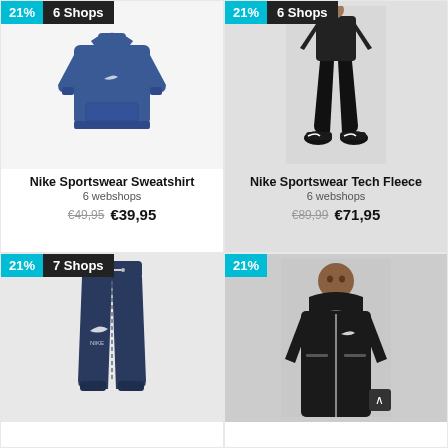[Figure (photo): Blue Nike Sportswear Sweatshirt hoodie product photo with '21%' cyan badge and '6 Shops' dark badge in top-left corner]
Nike Sportswear Sweatshirt
6 webshops
€49,95  €39,95
[Figure (photo): Black Nike Sportswear Tech Fleece jogger pants worn by person, with '21%' cyan badge and '6 Shops' dark badge in top-left corner]
Nike Sportswear Tech Fleece
6 webshops
€89,99  €71,95
[Figure (photo): Navy Nike Sportswear Club Fleece jogger pants product photo with '21%' cyan badge and '7 Shops' dark badge in top-left corner]
[Figure (photo): Black Nike Sportswear jacket worn by person with '21%' cyan badge in top-left corner, partially shown]